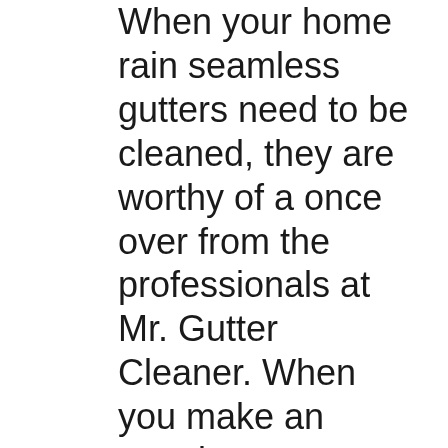When your home rain seamless gutters need to be cleaned, they are worthy of a once over from the professionals at Mr. Gutter Cleaner. When you make an appointment - our independent local service technicians will show up on time and get your job done quickly and effectively. You select the level of service you need when you book and our teams will ensure it is done, guaranteed.There is no reason to put it off or struggle with trying to do it yourself - which can be very hazardous and can take up your entire weekend! Our fast and affordable service is designed to help Adamsville homeowners maintain their gutters and downspouts in the easiest way possible.